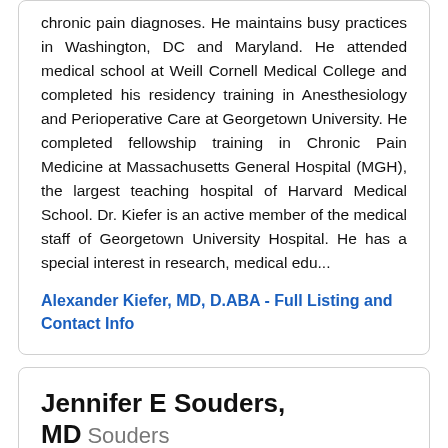chronic pain diagnoses. He maintains busy practices in Washington, DC and Maryland. He attended medical school at Weill Cornell Medical College and completed his residency training in Anesthesiology and Perioperative Care at Georgetown University. He completed fellowship training in Chronic Pain Medicine at Massachusetts General Hospital (MGH), the largest teaching hospital of Harvard Medical School. Dr. Kiefer is an active member of the medical staff of Georgetown University Hospital. He has a special interest in research, medical edu...
Alexander Kiefer, MD, D.ABA - Full Listing and Contact Info
Jennifer E Souders, MD Souders
Independent Medical Consultations PLLC
Seattle, Washington
Pain Management - Medicine, Addiction Medicine - toxicology, impairment, prescription, drugs, opioids, cannabis/marijuana, alcohol, criminal, DUI/DWI, felony,